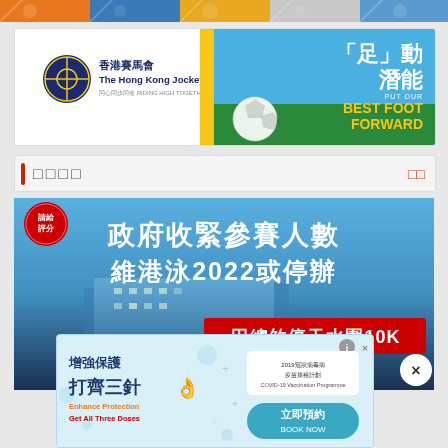[Figure (illustration): Top colorful banner strip with cartoon/anime characters]
[Figure (illustration): Hong Kong Jockey Club advertisement banner with football/soccer theme. Left side: HKJC logo with Chinese text 香港賽馬會, The Hong Kong Jockey Club, 同心同步同進 RIDING HIGH TOGETHER. Right side: soccer ball on grass with Chinese text「足」動潛能 PUT OUR BEST FOOT FORWARD.]
□□□□
[Figure (photo): News article image with bold Chinese text: 政府收緊參賽人數 維港泳2022或停辦 and red banner text: 田總煞停天水圍10K. Red circular logo top-left. Blue building in background.]
[Figure (illustration): COVID-19 vaccination advertisement. Chinese text: 增強保護 打齊三針 with OK hand emoji. English text: Enhance Protection, Get All Three Doses. Right side: vaccine programme logo and teal 立即預約 BOOK NOW button. Info and close buttons at top right.]